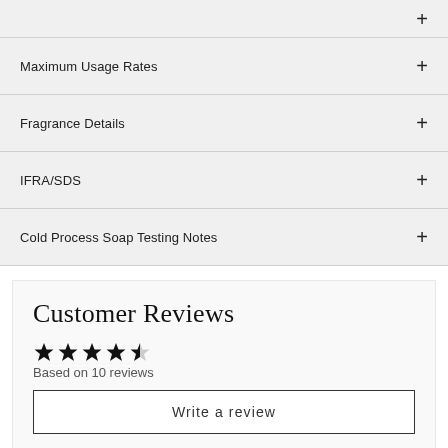Maximum Usage Rates
Fragrance Details
IFRA/SDS
Cold Process Soap Testing Notes
Customer Reviews
Based on 10 reviews
Write a review
100% (10)